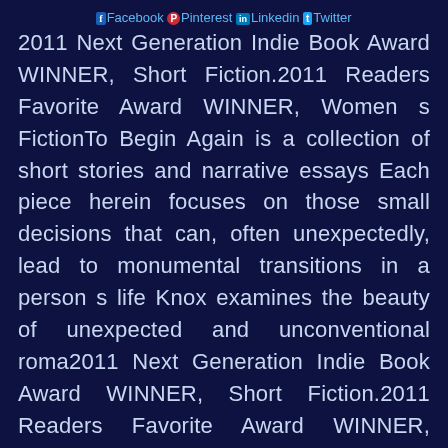Facebook Pinterest Linkedin Twitter
2011 Next Generation Indie Book Award WINNER, Short Fiction.2011 Readers Favorite Award WINNER, Women s FictionTo Begin Again is a collection of short stories and narrative essays Each piece herein focuses on those small decisions that can, often unexpectedly, lead to monumental transitions in a person s life Knox examines the beauty of unexpected and unconventional roma2011 Next Generation Indie Book Award WINNER, Short Fiction.2011 Readers Favorite Award WINNER, Women s FictionTo Begin Again is a collection of short stories and narrative essays Each piece